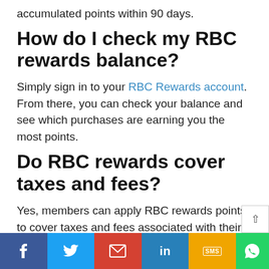accumulated points within 90 days.
How do I check my RBC rewards balance?
Simply sign in to your RBC Rewards account. From there, you can check your balance and see which purchases are earning you the most points.
Do RBC rewards cover taxes and fees?
Yes, members can apply RBC rewards points to cover taxes and fees associated with their travel bookings on top of the booking, itself.